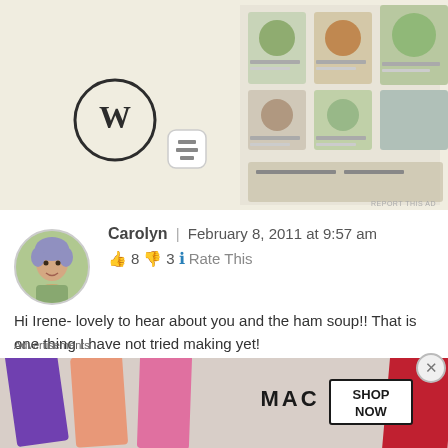[Figure (screenshot): WordPress website advertisement showing food/menu images and WordPress logo with a settings icon on a beige/cream background. 'REPORT THIS AD' text in bottom right.]
Carolyn | February 8, 2011 at 9:57 am
👍 8 👎 3 ℹ Rate This
Hi Irene- lovely to hear about you and the ham soup!! That is one thing I have not tried making yet!

Mmm maybe you have a recipe for Pea & Ham soup you could share- I'd love to make it!

Thanks for leaving a comment on here and I do hop
Advertisements
[Figure (screenshot): MAC cosmetics advertisement showing lipsticks in purple, pink, and red with 'MAC' logo and 'SHOP NOW' text in a black box.]